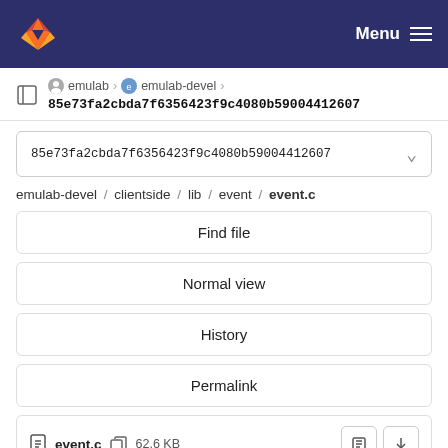Menu
emulab › emulab-devel › 85e73fa2cbda7f6356423f9c4080b59004412607
85e73fa2cbda7f6356423f9c4080b59004412607
emulab-devel / clientside / lib / event / event.c
Find file
Normal view
History
Permalink
event.c  62.6 KB
Newer  Older